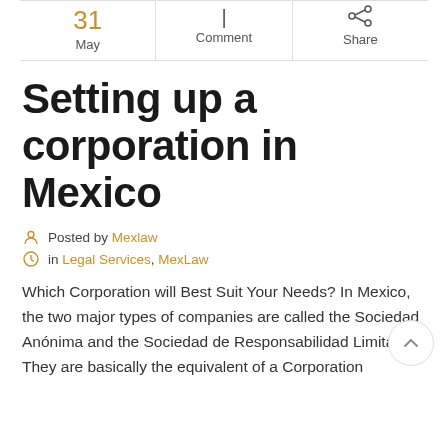| Date | Comment | Share |
| --- | --- | --- |
| 31
May | | Comment | Share |
Setting up a corporation in Mexico
Posted by Mexlaw in Legal Services, MexLaw
Which Corporation will Best Suit Your Needs? In Mexico, the two major types of companies are called the Sociedad Anónima and the Sociedad de Responsabilidad Limitada. They are basically the equivalent of a Corporation and a Limited Liability Company in the